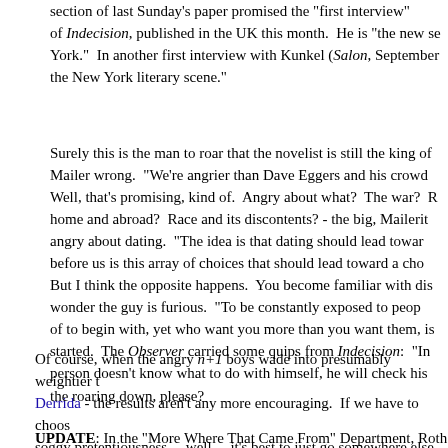section of last Sunday's paper promised the "first interview" of Indecision, published in the UK this month. He is "the new se York." In another first interview with Kunkel (Salon, September the New York literary scene."
Surely this is the man to roar that the novelist is still the king of Mailer wrong. "We're angrier than Dave Eggers and his crowd Well, that's promising, kind of. Angry about what? The war? Re home and abroad? Race and its discontents? - the big, Mailerit angry about dating. "The idea is that dating should lead towar before us is this array of choices that should lead toward a cho But I think the opposite happens. You become familiar with dis wonder the guy is furious. "To be constantly exposed to peop of to begin with, yet who want you more than you want them, is started. The Observer carried some quips from Indecision: "In person doesn't know what to do with himself, he will check his the roaring down, please?
Of course, when the angry n+1 boys wade into presumably weightier t Derrida - the results aren't any more encouraging. If we have to choos soggy pretentiousness ... well ... it's best to just go somewhere else alto you after the 9th.
UPDATE: In the "More Where That Came From" Department, Roth unloa